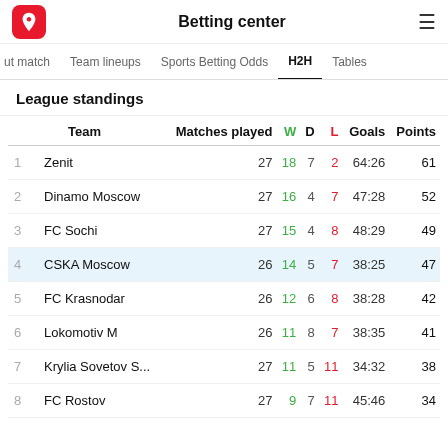Betting center
ut match   Team lineups   Sports Betting Odds   H2H   Tables
League standings
|  | Team | Matches played | W | D | L | Goals | Points |
| --- | --- | --- | --- | --- | --- | --- | --- |
| 1 | Zenit | 27 | 18 | 7 | 2 | 64:26 | 61 |
| 2 | Dinamo Moscow | 27 | 16 | 4 | 7 | 47:28 | 52 |
| 3 | FC Sochi | 27 | 15 | 4 | 8 | 48:29 | 49 |
| 4 | CSKA Moscow | 26 | 14 | 5 | 7 | 38:25 | 47 |
| 5 | FC Krasnodar | 26 | 12 | 6 | 8 | 38:28 | 42 |
| 6 | Lokomotiv M | 26 | 11 | 8 | 7 | 38:35 | 41 |
| 7 | Krylia Sovetov S... | 27 | 11 | 5 | 11 | 34:32 | 38 |
| 8 | FC Rostov | 27 | 9 | 7 | 11 | 45:46 | 34 |